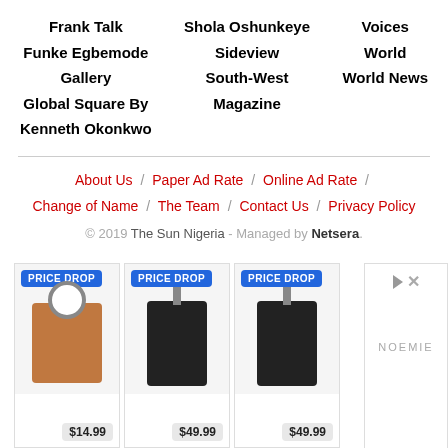Frank Talk
Funke Egbemode
Gallery
Global Square By Kenneth Okonkwo
Shola Oshunkeye
Sideview
South-West Magazine
Voices
World
World News
About Us / Paper Ad Rate / Online Ad Rate / Change of Name / The Team / Contact Us / Privacy Policy
© 2019 The Sun Nigeria - Managed by Netsera.
[Figure (other): Advertisement banner showing three keychains with PRICE DROP badges at $14.99, $49.99, $49.99, with Noemie brand logo on the right]